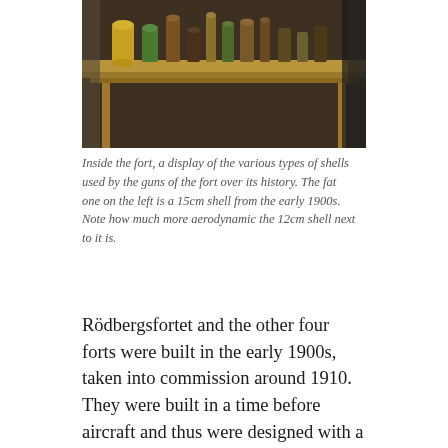[Figure (photo): Photo of various types of shells/ammunition displayed on a wooden shelf inside a fort. Multiple cylindrical shells of different sizes and colors are visible.]
Inside the fort, a display of the various types of shells used by the guns of the fort over its history. The fat one on the left is a 15cm shell from the early 1900s. Note how much more aerodynamic the 12cm shell next to it is.
Rödbergsfortet and the other four forts were built in the early 1900s, taken into commission around 1910. They were built in a time before aircraft and thus were designed with a moat to stop attacking infantry. The forts featured armored hoods on top the rock where 8cm, 15cm, and later 12cm guns would be placed, along with pits for mortars. The guns were a bit disappointing – the initial 15cm guns were replaced in 1970s with 12cm guns taken from